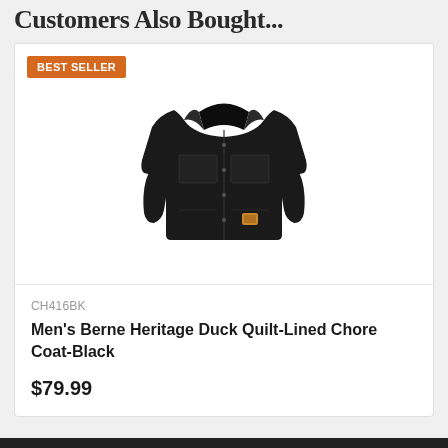Customers Also Bought...
[Figure (photo): Men's black chore coat/work jacket with corduroy collar, chest pockets, and small logo patch, displayed flat on white background. Orange BEST SELLER badge in top left corner.]
CH416BK
Men's Berne Heritage Duck Quilt-Lined Chore Coat-Black
$79.99